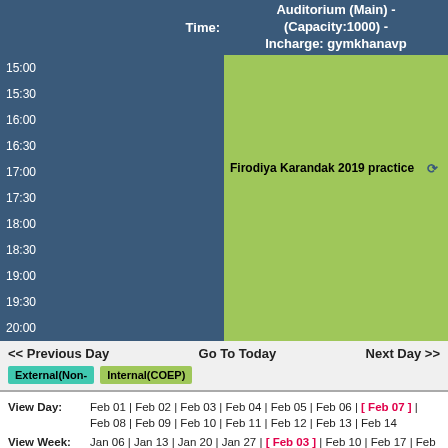| Time: | Auditorium (Main) - (Capacity:1000) - Incharge: gymkhanavp |
| --- | --- |
| 15:00 |  |
| 15:30 |  |
| 16:00 |  |
| 16:30 |  |
| 17:00 | Firodiya Karandak 2019 practice |
| 17:30 |  |
| 18:00 |  |
| 18:30 |  |
| 19:00 |  |
| 19:30 |  |
| 20:00 |  |
<< Previous Day   Go To Today   Next Day >>
External(Non-   Internal(COEP)
View Day: Feb 01 | Feb 02 | Feb 03 | Feb 04 | Feb 05 | Feb 06 | [ Feb 07 ] | Feb 08 | Feb 09 | Feb 10 | Feb 11 | Feb 12 | Feb 13 | Feb 14
View Week: Jan 06 | Jan 13 | Jan 20 | Jan 27 | [ Feb 03 ] | Feb 10 | Feb 17 | Feb 24 | Mar 03
View Month: Dec 2018 | Jan 2019 | [ Feb 2019 ] | Mar 2019 | Apr 2019 | May 2019 | Jun 2019 | Jul 2019 | Aug 2019